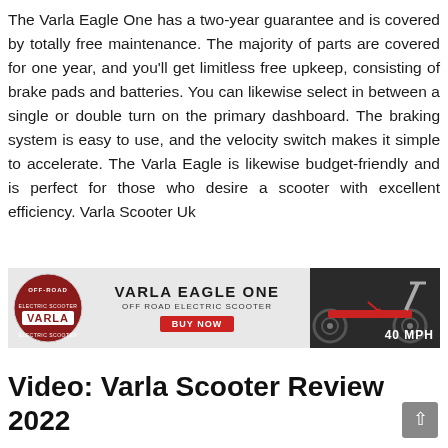The Varla Eagle One has a two-year guarantee and is covered by totally free maintenance. The majority of parts are covered for one year, and you'll get limitless free upkeep, consisting of brake pads and batteries. You can likewise select in between a single or double turn on the primary dashboard. The braking system is easy to use, and the velocity switch makes it simple to accelerate. The Varla Eagle is likewise budget-friendly and is perfect for those who desire a scooter with excellent efficiency. Varla Scooter Uk
[Figure (infographic): Advertisement banner for Varla Eagle One Off Road Electric Scooter. Features the Varla logo on the left, central text 'VARLA EAGLE ONE / OFF ROAD ELECTRIC SCOOTER' with a red 'BUY NOW' button, and a photo of the scooter on the right with '40 MPH' label.]
Video: Varla Scooter Review 2022